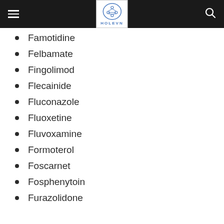HOLEVN
Famotidine
Felbamate
Fingolimod
Flecainide
Fluconazole
Fluoxetine
Fluvoxamine
Formoterol
Foscarnet
Fosphenytoin
Furazolidone